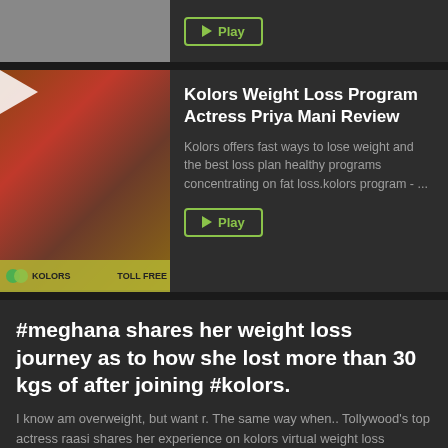[Figure (screenshot): Top video card with gray thumbnail and Play button]
[Figure (screenshot): Video thumbnail showing a woman in red saree with Kolors branding, play button overlay]
Kolors Weight Loss Program Actress Priya Mani Review
Kolors offers fast ways to lose weight and the best loss plan healthy programs concentrating on fat loss.kolors program - ...
#meghana shares her weight loss journey as to how she lost more than 30 kgs of after joining #kolors.
I know am overweight, but want r. The same way when.. Tollywood's top actress raasi shares her experience on kolors virtual weight loss program(vwl) and how has assisted in treatment.